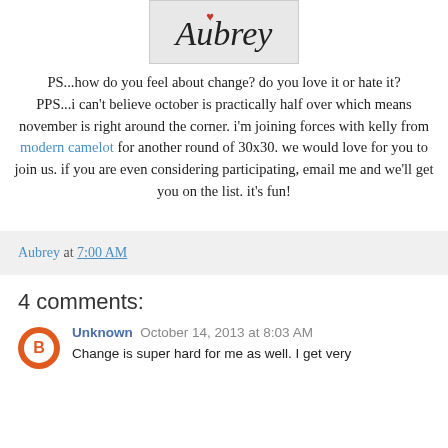[Figure (illustration): Signature image showing the name 'Aubrey' in cursive script with a small heart, on a light gray background]
PS...how do you feel about change? do you love it or hate it?
PPS...i can't believe october is practically half over which means november is right around the corner. i'm joining forces with kelly from modern camelot for another round of 30x30. we would love for you to join us. if you are even considering participating, email me and we'll get you on the list. it's fun!
Aubrey at 7:00 AM
4 comments:
Unknown October 14, 2013 at 8:03 AM
Change is super hard for me as well. I get very